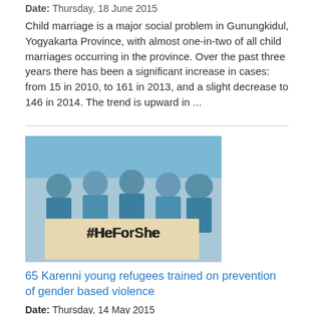Date: Thursday, 18 June 2015
Child marriage is a major social problem in Gunungkidul, Yogyakarta Province, with almost one-in-two of all child marriages occurring in the province. Over the past three years there has been a significant increase in cases: from 15 in 2010, to 161 in 2013, and a slight decrease to 146 in 2014. The trend is upward in ...
[Figure (photo): Group of young people in blue shirts holding a sign reading '#HeForShe']
65 Karenni young refugees trained on prevention of gender based violence
Date: Thursday, 14 May 2015
65 girls and boys members of the ethnic group Karenni residing in Ban Mai Nai Soi refugee camp in Maehongson province, Thailand along the Thai-Burmese border participated on a Capacity Building training. The training held from 11 to 20 May, 2015, over the course of 10 days these boys and girls learn life skills in the camp setting including the 3 inclusive days dedicated for gender-based violence